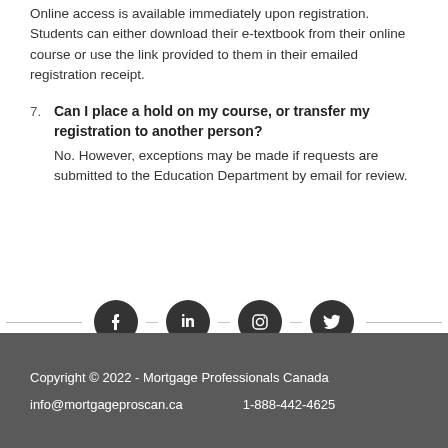Online access is available immediately upon registration. Students can either download their e-textbook from their online course or use the link provided to them in their emailed registration receipt.
7. Can I place a hold on my course, or transfer my registration to another person? No. However, exceptions may be made if requests are submitted to the Education Department by email for review.
[Figure (illustration): Social media icons: Facebook, LinkedIn, Instagram, Twitter with horizontal lines on either side]
Copyright © 2022 - Mortgage Professionals Canada
info@mortgageproscan.ca  1-888-442-4625